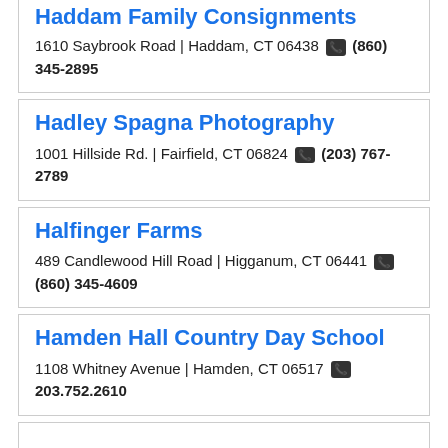Haddam Family Consignments
1610 Saybrook Road | Haddam, CT 06438 (860) 345-2895
Hadley Spagna Photography
1001 Hillside Rd. | Fairfield, CT 06824 (203) 767-2789
Halfinger Farms
489 Candlewood Hill Road | Higganum, CT 06441 (860) 345-4609
Hamden Hall Country Day School
1108 Whitney Avenue | Hamden, CT 06517 203.752.2610